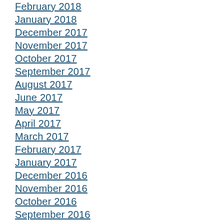February 2018
January 2018
December 2017
November 2017
October 2017
September 2017
August 2017
June 2017
May 2017
April 2017
March 2017
February 2017
January 2017
December 2016
November 2016
October 2016
September 2016
August 2016
July 2016